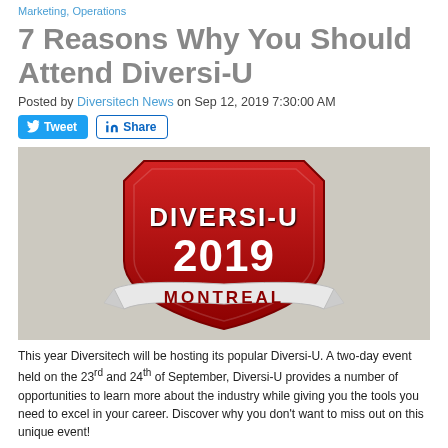Marketing, Operations
7 Reasons Why You Should Attend Diversi-U
Posted by Diversitech News on Sep 12, 2019 7:30:00 AM
[Figure (logo): Diversi-U 2019 Montreal shield/badge logo on grey background]
This year Diversitech will be hosting its popular Diversi-U. A two-day event held on the 23rd and 24th of September, Diversi-U provides a number of opportunities to learn more about the industry while giving you the tools you need to excel in your career. Discover why you don't want to miss out on this unique event!
Read More